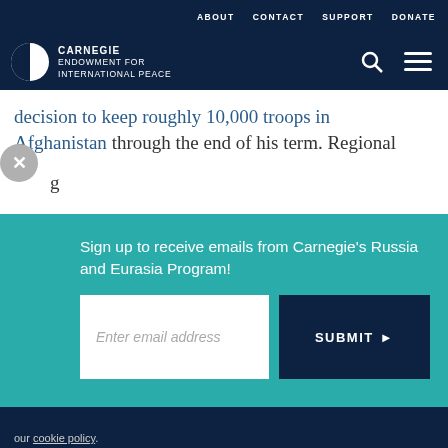ABOUT   CONTACT   SUPPORT   DONATE
[Figure (logo): Carnegie Endowment for International Peace logo with navigation icons]
decision to keep roughly 10,000 troops in Afghanistan through the end of his term. Regional
[Figure (screenshot): Email signup popup overlay: Sign up to receive emails from Carnegie's Russia and Eurasia Program! with email input field and SUBMIT button]
our cookie policy.
[Figure (infographic): Bottom share bar with print, link, Facebook, Twitter, WhatsApp, Messenger, LinkedIn icons]